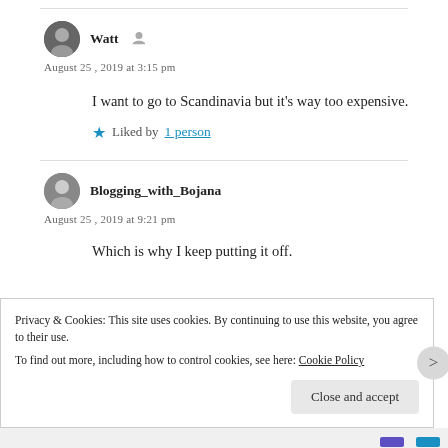Watt
August 25, 2019 at 3:15 pm
I want to go to Scandinavia but it's way too expensive.
★ Liked by 1 person
Blogging_with_Bojana
August 25, 2019 at 9:21 pm
Which is why I keep putting it off.
Privacy & Cookies: This site uses cookies. By continuing to use this website, you agree to their use. To find out more, including how to control cookies, see here: Cookie Policy
Close and accept